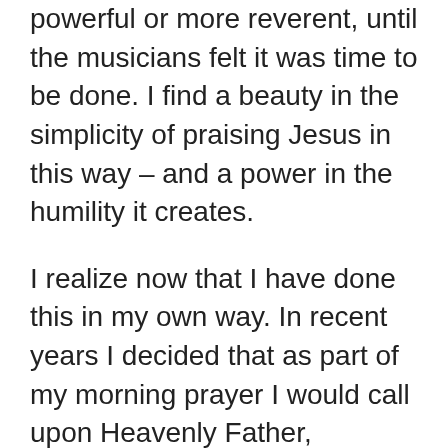powerful or more reverent, until the musicians felt it was time to be done. I find a beauty in the simplicity of praising Jesus in this way – and a power in the humility it creates.
I realize now that I have done this in my own way. In recent years I decided that as part of my morning prayer I would call upon Heavenly Father, acknowledge that He is God, that He knows everything, and that I can hide nothing from Him. I then confessed the same thing regarding the Savior, Jesus Christ. In the weeks and months after beginning this practice I felt the power and peace of God grow stronger